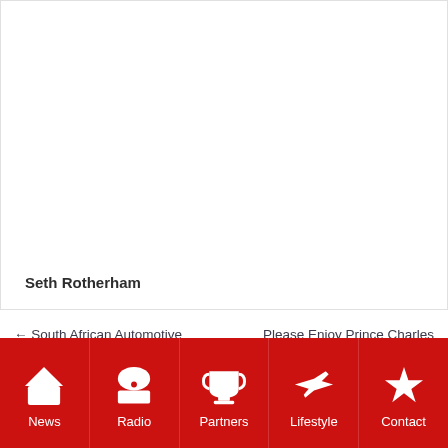Seth Rotherham
← South African Automotive Component Exports Hit
Please Enjoy Prince Charles Drinking A Pint With His
News | Radio | Partners | Lifestyle | Contact